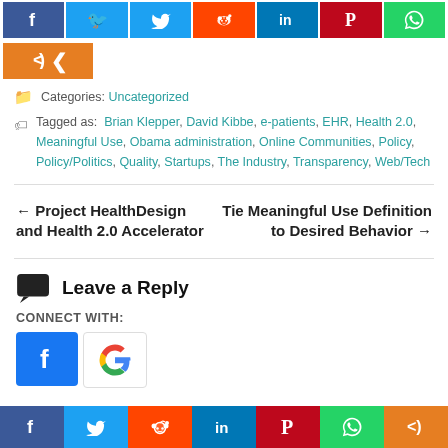[Figure (other): Social share buttons row: Facebook, Twitter, Reddit, LinkedIn, Pinterest, WhatsApp, and a share/more button]
Categories: Uncategorized
Tagged as: Brian Klepper, David Kibbe, e-patients, EHR, Health 2.0, Meaningful Use, Obama administration, Online Communities, Policy, Policy/Politics, Quality, Startups, The Industry, Transparency, Web/Tech
← Project HealthDesign and Health 2.0 Accelerator    Tie Meaningful Use Definition to Desired Behavior →
Leave a Reply
CONNECT WITH:
[Figure (other): Social login buttons: Facebook and Google]
[Figure (other): Bottom social share bar: Facebook, Twitter, Reddit, LinkedIn, Pinterest, WhatsApp, More]